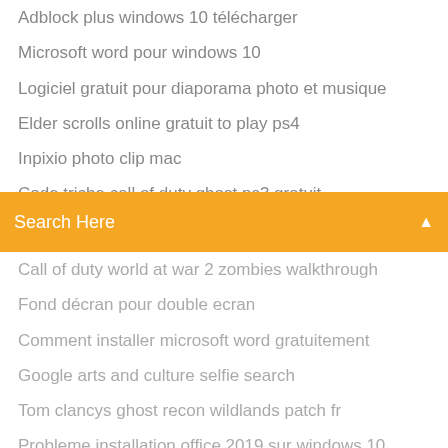Adblock plus windows 10 télécharger
Microsoft word pour windows 10
Logiciel gratuit pour diaporama photo et musique
Elder scrolls online gratuit to play ps4
Inpixio photo clip mac
Code triche call of duty ghost ps3 gratuit
Search Here
Call of duty world at war 2 zombies walkthrough
Fond décran pour double ecran
Comment installer microsoft word gratuitement
Google arts and culture selfie search
Tom clancys ghost recon wildlands patch fr
Probleme installation office 2019 sur windows 10
Logiciel impression jaquette cd gratuit
Eyes the horror game 2.0.3
Ouvrir document publisher avec open office
How to get activation code for tv 3l pc
Mpc hc windows 10 probleme